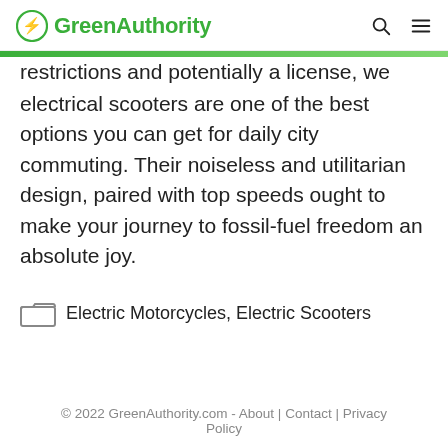GreenAuthority
restrictions and potentially a license, we think electrical scooters are one of the best options you can get for daily city commuting. Their noiseless and utilitarian design, paired with top speeds ought to make your journey to fossil-fuel freedom an absolute joy.
Electric Motorcycles, Electric Scooters
© 2022 GreenAuthority.com - About | Contact | Privacy Policy